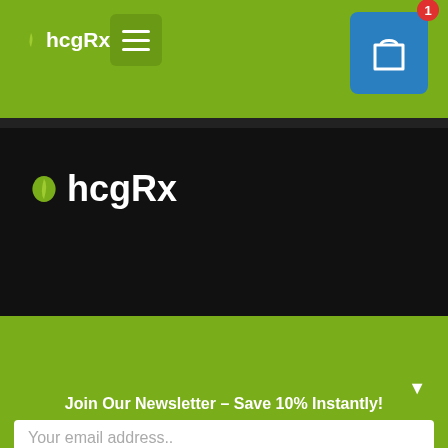[Figure (logo): hcgRx logo with leaf icon in green navigation bar]
[Figure (screenshot): Shopping cart icon with badge showing count 1 in blue box]
[Figure (logo): hcgRx logo with leaf icon on dark/black background hero section]
▼
Join Our Newsletter – Save 10% Instantly!
Your email address..
Sign Up & Save